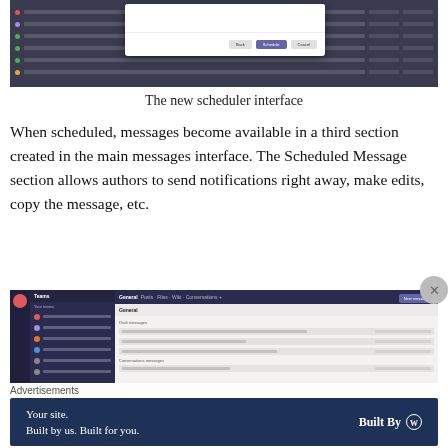[Figure (screenshot): Screenshot of a scheduler interface showing a dark-themed list view with a dialog/modal overlay containing OK and Cancel buttons]
The new scheduler interface
When scheduled, messages become available in a third section created in the main messages interface. The Scheduled Message section allows authors to send notifications right away, make edits, copy the message, etc.
[Figure (screenshot): Screenshot of Microsoft Teams interface showing the main Teams view with sidebar, channel list, and main messaging area with a New message button]
Advertisements
[Figure (other): Advertisement banner: 'Your site. Built by us. Built for you. Built By WordPress logo']